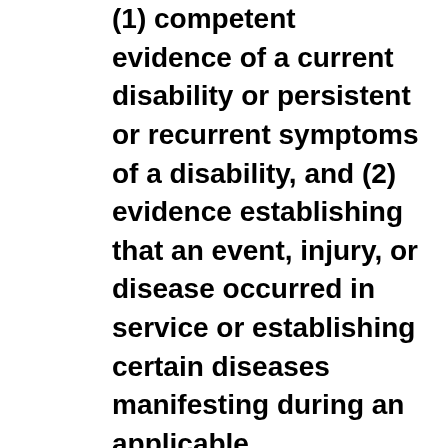(1) competent evidence of a current disability or persistent or recurrent symptoms of a disability, and (2) evidence establishing that an event, injury, or disease occurred in service or establishing certain diseases manifesting during an applicable presumptive period for which the claimant qualifies, and (3) an indication that the disability or persistent or recurrent symptoms